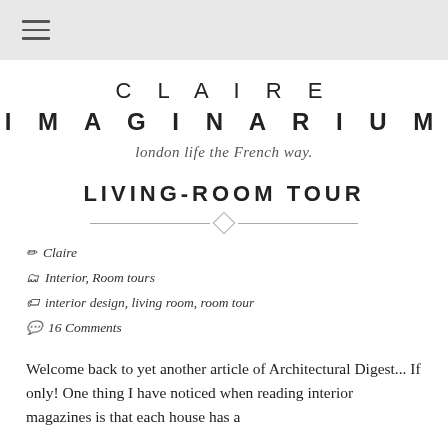≡
CLAIRE IMAGINARIUM
london life the French way.
LIVING-ROOM TOUR
✏ Claire
🗂 Interior, Room tours
🏷 interior design, living room, room tour
💬 16 Comments
Welcome back to yet another article of Architectural Digest... If only! One thing I have noticed when reading interior magazines is that each house has a